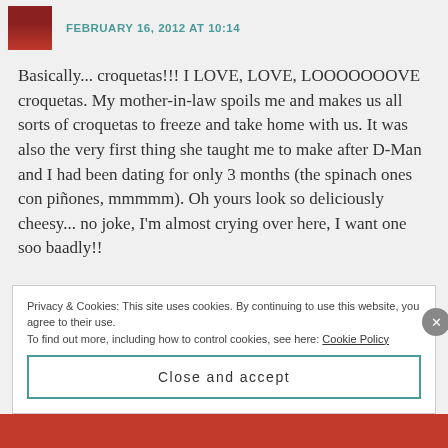FEBRUARY 16, 2012 AT 10:14
Basically... croquetas!!! I LOVE, LOVE, LOOOOOOOVE croquetas. My mother-in-law spoils me and makes us all sorts of croquetas to freeze and take home with us. It was also the very first thing she taught me to make after D-Man and I had been dating for only 3 months (the spinach ones con piñones, mmmmm). Oh yours look so deliciously cheesy... no joke, I'm almost crying over here, I want one soo baadly!!
Privacy & Cookies: This site uses cookies. By continuing to use this website, you agree to their use.
To find out more, including how to control cookies, see here: Cookie Policy
Close and accept